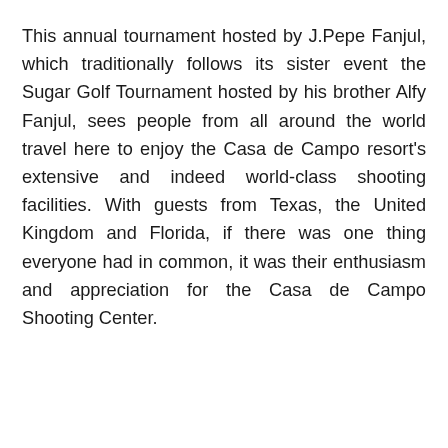This annual tournament hosted by J.Pepe Fanjul, which traditionally follows its sister event the Sugar Golf Tournament hosted by his brother Alfy Fanjul, sees people from all around the world travel here to enjoy the Casa de Campo resort's extensive and indeed world-class shooting facilities. With guests from Texas, the United Kingdom and Florida, if there was one thing everyone had in common, it was their enthusiasm and appreciation for the Casa de Campo Shooting Center.